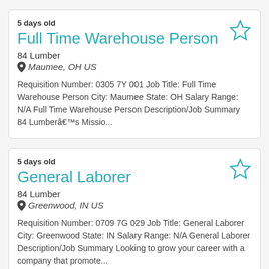5 days old
Full Time Warehouse Person
84 Lumber
Maumee, OH US
Requisition Number: 0305 7Y 001 Job Title: Full Time Warehouse Person City: Maumee State: OH Salary Range: N/A Full Time Warehouse Person Description/Job Summary 84 Lumberâs Missio...
5 days old
General Laborer
84 Lumber
Greenwood, IN US
Requisition Number: 0709 7G 029 Job Title: General Laborer City: Greenwood State: IN Salary Range: N/A General Laborer Description/Job Summary Looking to grow your career with a company that promote...